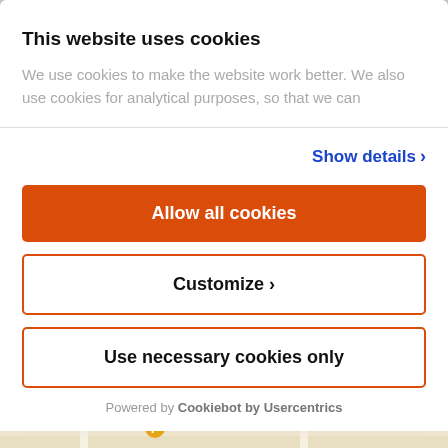This website uses cookies
We use cookies to make the website work better. We also use cookies for analytical purposes, so that we can
Show details ›
Allow all cookies
Customize ›
Use necessary cookies only
Powered by Cookiebot by Usercentrics